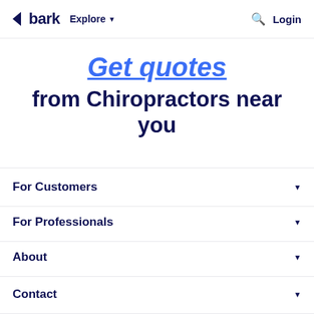bark  Explore  Login
Get quotes from Chiropractors near you
For Customers
For Professionals
About
Contact